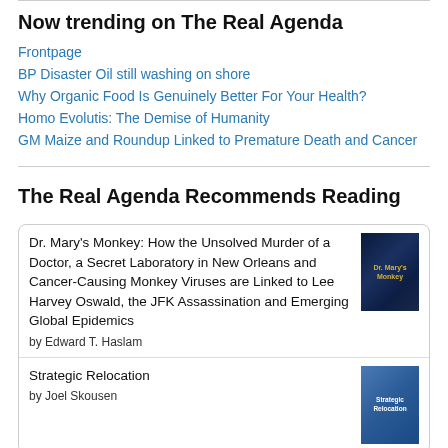Now trending on The Real Agenda
Frontpage
BP Disaster Oil still washing on shore
Why Organic Food Is Genuinely Better For Your Health?
Homo Evolutis: The Demise of Humanity
GM Maize and Roundup Linked to Premature Death and Cancer
The Real Agenda Recommends Reading
Dr. Mary's Monkey: How the Unsolved Murder of a Doctor, a Secret Laboratory in New Orleans and Cancer-Causing Monkey Viruses are Linked to Lee Harvey Oswald, the JFK Assassination and Emerging Global Epidemics by Edward T. Haslam
Strategic Relocation by Joel Skousen